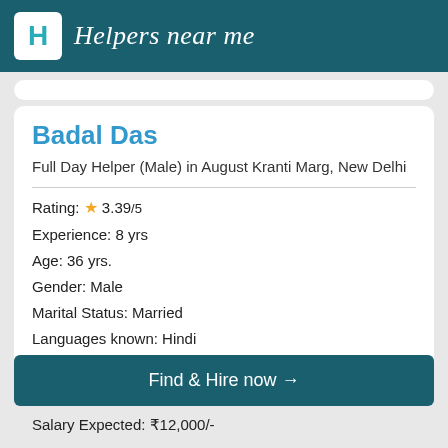Helpers near me
Badal Das
Full Day Helper (Male) in August Kranti Marg, New Delhi
Rating: ★ 3.39/5
Experience: 8 yrs
Age: 36 yrs.
Gender: Male
Marital Status: Married
Languages known: Hindi
Verified: Yes
Find & Hire now →
Salary Expected: ₹12,000/-